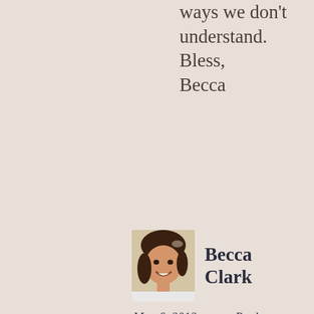ways we don't understand.
Bless,
Becca
[Figure (photo): Profile photo of Becca Clark, a woman with dark hair, smiling]
Becca Clark
May 6, 2012    Reply
Privacy & Cookies: This site uses cookies. By continuing to use this website, you agree to their use.
To find out more, including how to control cookies, see here:
Cookie Policy
Close and accept